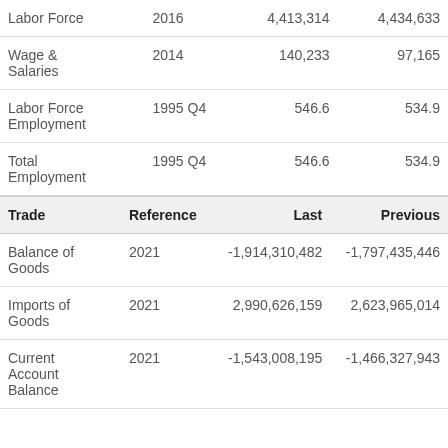|  | Reference | Last | Previous |
| --- | --- | --- | --- |
| Labor Force | 2016 | 4,413,314 | 4,434,633 |
| Wage & Salaries | 2014 | 140,233 | 97,165 |
| Labor Force Employment | 1995 Q4 | 546.6 | 534.9 |
| Total Employment | 1995 Q4 | 546.6 | 534.9 |
| Trade | Reference | Last | Previous |
| --- | --- | --- | --- |
| Balance of Goods | 2021 | -1,914,310,482 | -1,797,435,446 |
| Imports of Goods | 2021 | 2,990,626,159 | 2,623,965,014 |
| Current Account Balance | 2021 | -1,543,008,195 | -1,466,327,943 |